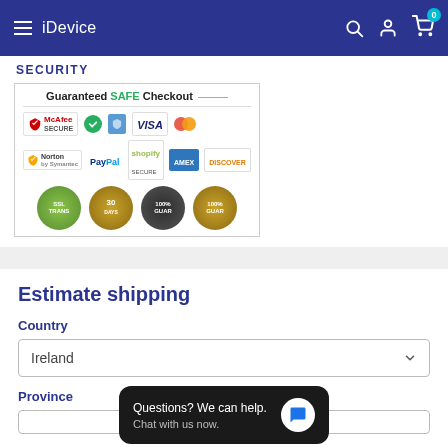iDevice
SECURITY
[Figure (infographic): Guaranteed SAFE Checkout badge with McAfee SECURE, Norton, PayPal, Shopify SECURE, VISA, Mastercard, American Express, Discover logos, plus SSL, 30-day, 100% guarantee, and 100% guaranteed seals]
Estimate shipping
Country
Ireland
Province
Questions? We can help. Chat with us now.